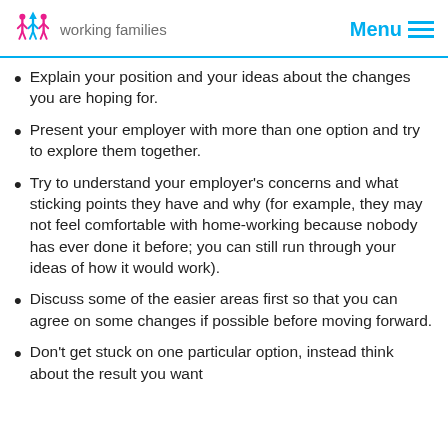working families | Menu
Explain your position and your ideas about the changes you are hoping for.
Present your employer with more than one option and try to explore them together.
Try to understand your employer’s concerns and what sticking points they have and why (for example, they may not feel comfortable with home-working because nobody has ever done it before; you can still run through your ideas of how it would work).
Discuss some of the easier areas first so that you can agree on some changes if possible before moving forward.
Don’t get stuck on one particular option, instead think about the result you want